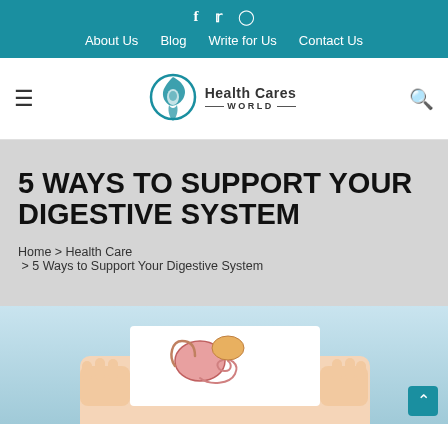f  y  ⓘ  About Us  Blog  Write for Us  Contact Us
[Figure (logo): Health Cares World logo with teal bird/droplet icon and text]
5 WAYS TO SUPPORT YOUR DIGESTIVE SYSTEM
Home > Health Care > 5 Ways to Support Your Digestive System
[Figure (photo): Person holding a white card showing a colorful digestive system illustration in front of their torso, against a light blue background]